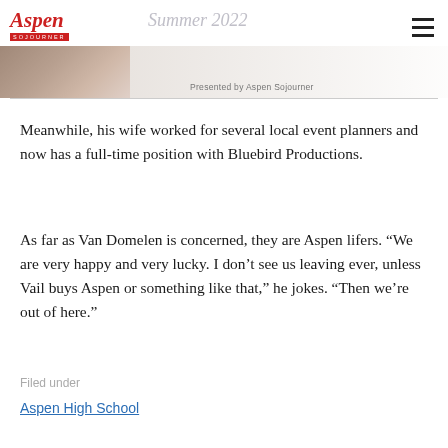Aspen Sojourner - Summer 2022 - Presented by Aspen Sojourner
Meanwhile, his wife worked for several local event planners and now has a full-time position with Bluebird Productions.
As far as Van Domelen is concerned, they are Aspen lifers. “We are very happy and very lucky. I don’t see us leaving ever, unless Vail buys Aspen or something like that,” he jokes. “Then we’re out of here.”
Filed under
Aspen High School